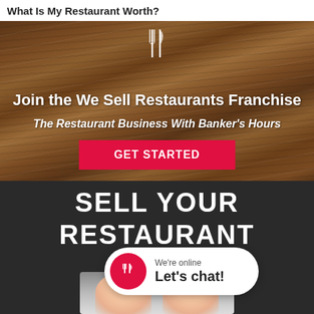What Is My Restaurant Worth?
[Figure (illustration): Wood background banner with fork and knife icon, showing 'Join the We Sell Restaurants Franchise' title and 'The Restaurant Business With Banker's Hours' subtitle with a red 'GET STARTED' button]
[Figure (infographic): Dark charcoal background section with large white bold text 'SELL YOUR RESTAURANT' and a chat widget overlay showing red circle with fork/knife icon and text 'We're online Let's chat!' along with a photo of two smiling people (chef and another person)]